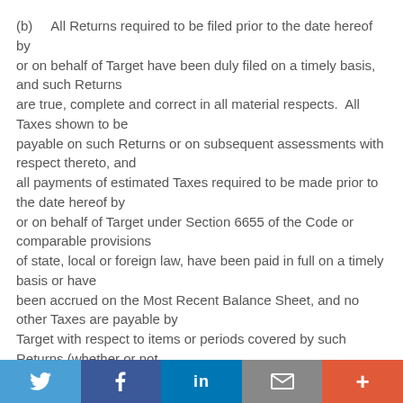(b)    All Returns required to be filed prior to the date hereof by or on behalf of Target have been duly filed on a timely basis, and such Returns are true, complete and correct in all material respects.  All Taxes shown to be payable on such Returns or on subsequent assessments with respect thereto, and all payments of estimated Taxes required to be made prior to the date hereof by or on behalf of Target under Section 6655 of the Code or comparable provisions of state, local or foreign law, have been paid in full on a timely basis or have been accrued on the Most Recent Balance Sheet, and no other Taxes are payable by Target with respect to items or periods covered by such Returns (whether or not shown on or reportable on such Returns).  Target has withheld
Twitter | Facebook | LinkedIn | Mail | Plus